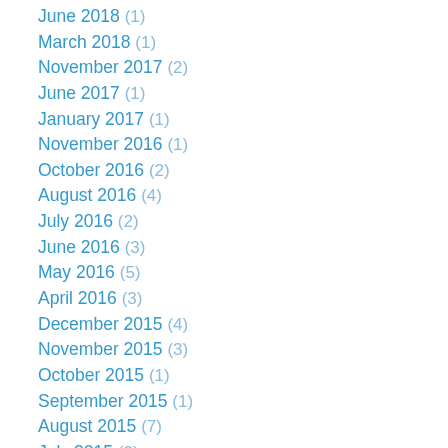June 2018 (1)
March 2018 (1)
November 2017 (2)
June 2017 (1)
January 2017 (1)
November 2016 (1)
October 2016 (2)
August 2016 (4)
July 2016 (2)
June 2016 (3)
May 2016 (5)
April 2016 (3)
December 2015 (4)
November 2015 (3)
October 2015 (1)
September 2015 (1)
August 2015 (7)
July 2015 (3)
April 2015 (2)
March 2015 (6)